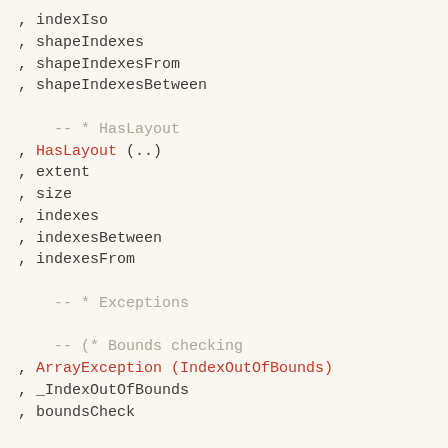, indexIso
, shapeIndexes
, shapeIndexesFrom
, shapeIndexesBetween

    -- * HasLayout
, HasLayout (..)
, extent
, size
, indexes
, indexesBetween
, indexesFrom

    -- * Exceptions

    -- (* Bounds checking
, ArrayException (IndexOutOfBounds)
, _IndexOutOfBounds
, boundsCheck

    -- (* Size missmatch
, SizeMissmatch (..)
, AsSizeMissmatch (..)
, sizeMissmatch

    -- * Utilities
, showShape
) where

import           Control.Applicative